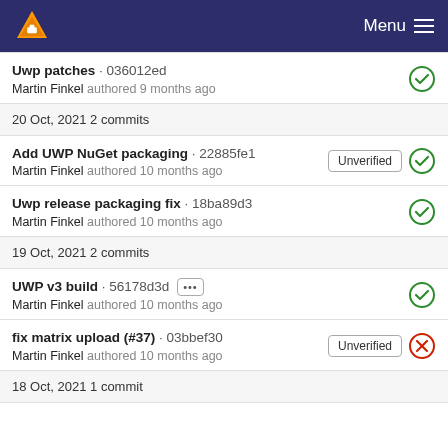VLC — Menu
Uwp patches · 036012ed — Martin Finkel authored 9 months ago
20 Oct, 2021 2 commits
Add UWP NuGet packaging · 22885fe1 — Unverified — Martin Finkel authored 10 months ago
Uwp release packaging fix · 18ba89d3 — Martin Finkel authored 10 months ago
19 Oct, 2021 2 commits
UWP v3 build · 56178d3d ··· — Martin Finkel authored 10 months ago
fix matrix upload (#37) · 03bbef30 — Unverified — Martin Finkel authored 10 months ago
18 Oct, 2021 1 commit